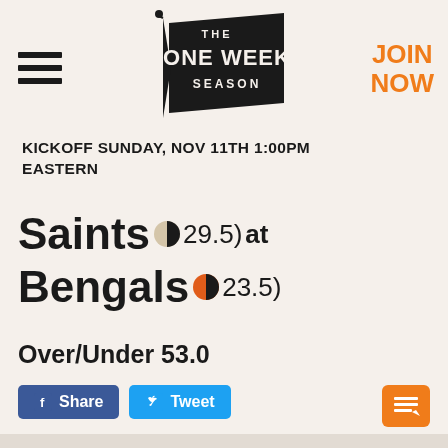[Figure (logo): The One Week Season pennant logo with hamburger menu on left and JOIN NOW in orange on right]
KICKOFF SUNDAY, NOV 11TH 1:00PM EASTERN
Saints (29.5) at Bengals (23.5)
Over/Under 53.0
Share  Tweet